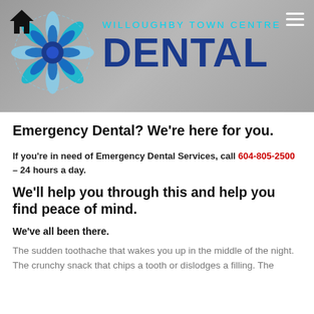[Figure (logo): Willoughby Town Centre Dental logo with a blue snowflake/flower graphic and the clinic name in blue text on a grey banner background, with home and hamburger navigation icons]
Emergency Dental? We’re here for you.
If you’re in need of Emergency Dental Services, call 604-805-2500 – 24 hours a day.
We’ll help you through this and help you find peace of mind.
We’ve all been there.
The sudden toothache that wakes you up in the middle of the night. The crunchy snack that chips a tooth or dislodges a filling. The